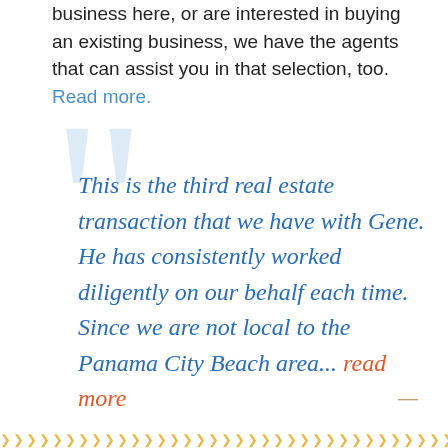business here, or are interested in buying an existing business, we have the agents that can assist you in that selection, too. Read more.
This is the third real estate transaction that we have with Gene. He has consistently worked diligently on our behalf each time. Since we are not local to the Panama City Beach area... read more